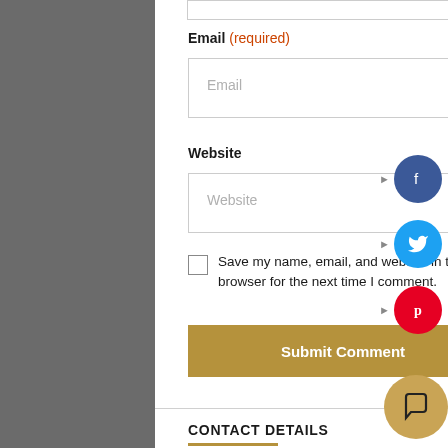Email (required)
Email (placeholder)
Website
Website (placeholder)
Save my name, email, and website in this browser for the next time I comment.
Submit Comment
CONTACT DETAILS